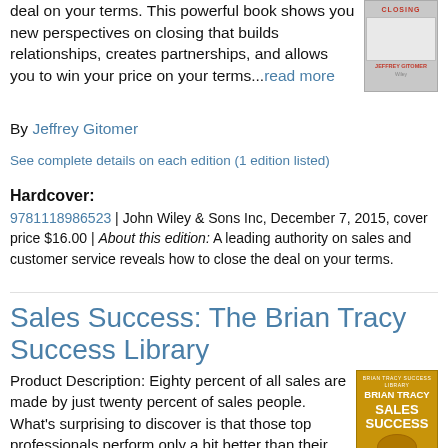deal on your terms. This powerful book shows you new perspectives on closing that builds relationships, creates partnerships, and allows you to win your price on your terms...read more
By Jeffrey Gitomer
See complete details on each edition (1 edition listed)
Hardcover:
9781118986523 | John Wiley & Sons Inc, December 7, 2015, cover price $16.00 | About this edition: A leading authority on sales and customer service reveals how to close the deal on your terms.
Sales Success: The Brian Tracy Success Library
Product Description: Eighty percent of all sales are made by just twenty percent of sales people. What's surprising to discover is that those top professionals perform only a bit better than their peers in certain critical areas. By excelling in these capabilities, you can earn money faster, have more